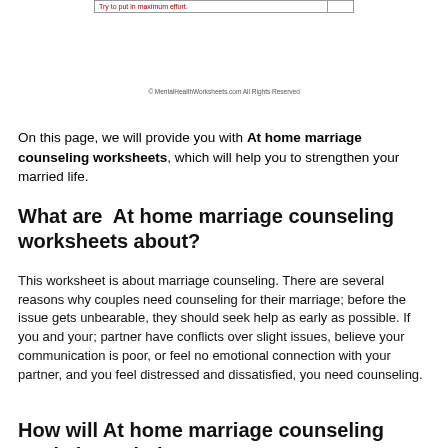| Try to put in maximum effort. |  |
© MentalHealthWorksheets.com All Rights Reserved
On this page, we will provide you with At home marriage counseling worksheets, which will help you to strengthen your married life.
What are  At home marriage counseling worksheets about?
This worksheet is about marriage counseling. There are several reasons why couples need counseling for their marriage; before the issue gets unbearable, they should seek help as early as possible. If you and your; partner have conflicts over slight issues, believe your communication is poor, or feel no emotional connection with your partner, and you feel distressed and dissatisfied, you need counseling.
How will At home marriage counseling worksheets help?